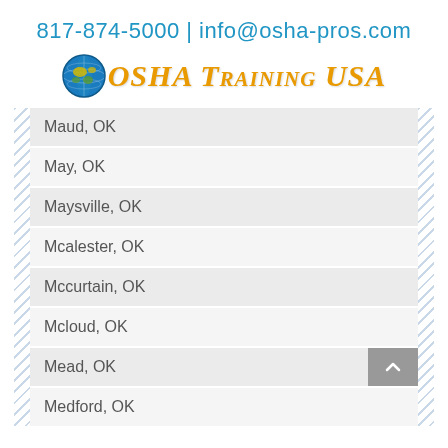817-874-5000 | info@osha-pros.com
[Figure (logo): OSHA Training USA logo with globe icon]
Maud, OK
May, OK
Maysville, OK
Mcalester, OK
Mccurtain, OK
Mcloud, OK
Mead, OK
Medford, OK